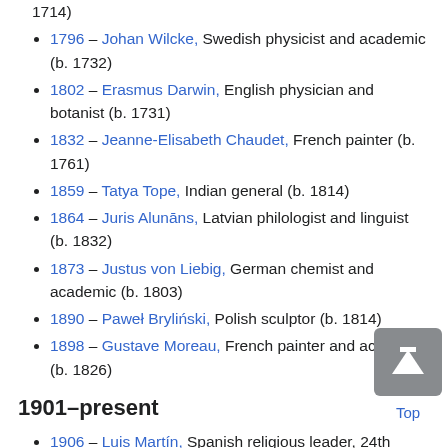1714)
1796 – Johan Wilcke, Swedish physicist and academic (b. 1732)
1802 – Erasmus Darwin, English physician and botanist (b. 1731)
1832 – Jeanne-Elisabeth Chaudet, French painter (b. 1761)
1859 – Tatya Tope, Indian general (b. 1814)
1864 – Juris Alunāns, Latvian philologist and linguist (b. 1832)
1873 – Justus von Liebig, German chemist and academic (b. 1803)
1890 – Paweł Bryliński, Polish sculptor (b. 1814)
1898 – Gustave Moreau, French painter and academic (b. 1826)
1901–present
1906 – Luis Martín, Spanish religious leader, 24th Superior-General of the Society of Jesus (b. 1846)